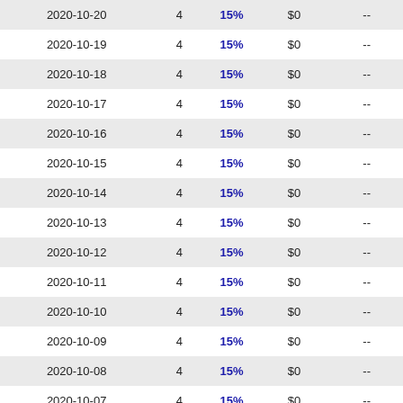| 2020-10-20 | 4 | 15% | $0 | -- |
| 2020-10-19 | 4 | 15% | $0 | -- |
| 2020-10-18 | 4 | 15% | $0 | -- |
| 2020-10-17 | 4 | 15% | $0 | -- |
| 2020-10-16 | 4 | 15% | $0 | -- |
| 2020-10-15 | 4 | 15% | $0 | -- |
| 2020-10-14 | 4 | 15% | $0 | -- |
| 2020-10-13 | 4 | 15% | $0 | -- |
| 2020-10-12 | 4 | 15% | $0 | -- |
| 2020-10-11 | 4 | 15% | $0 | -- |
| 2020-10-10 | 4 | 15% | $0 | -- |
| 2020-10-09 | 4 | 15% | $0 | -- |
| 2020-10-08 | 4 | 15% | $0 | -- |
| 2020-10-07 | 4 | 15% | $0 | -- |
| 2020-10-06 | 4 | 15% | $0 | -- |
| 2020-10-05 | 4 | 15% | $0 | -- |